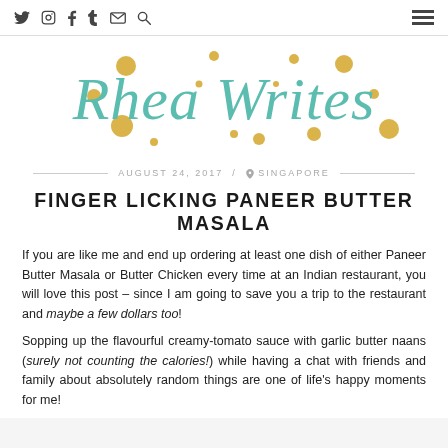Twitter Instagram Facebook Tumblr Email Search [hamburger menu]
[Figure (logo): Rhea Writes blog logo in teal cursive script with gold dot decorations on white background]
AUGUST 24, 2017 / SINGAPORE
FINGER LICKING PANEER BUTTER MASALA
If you are like me and end up ordering at least one dish of either Paneer Butter Masala or Butter Chicken every time at an Indian restaurant, you will love this post – since I am going to save you a trip to the restaurant and maybe a few dollars too!
Sopping up the flavourful creamy-tomato sauce with garlic butter naans (surely not counting the calories!) while having a chat with friends and family about absolutely random things are one of life's happy moments for me!